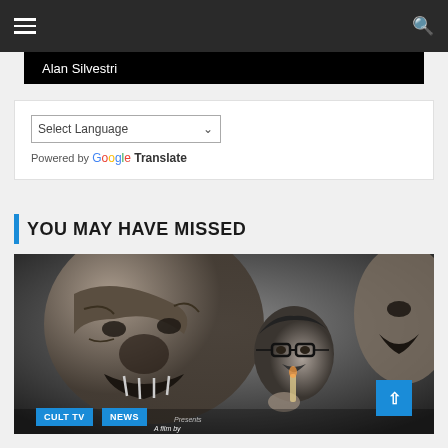Navigation bar with hamburger menu and search icon
Alan Silvestri
[Figure (screenshot): Google Translate widget with Select Language dropdown and Powered by Google Translate text]
YOU MAY HAVE MISSED
[Figure (photo): Black and white horror movie poster image with monsters and a man with glasses. Tags: CULT TV, NEWS at bottom left. Back to top button at bottom right.]